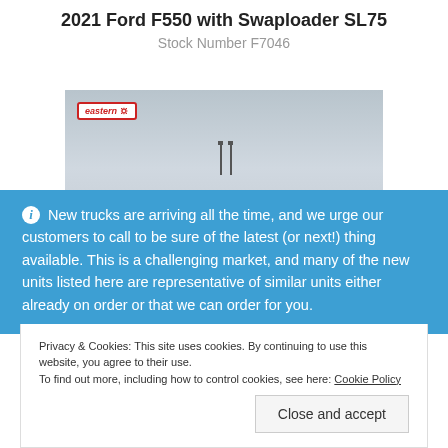2021 Ford F550 with Swaploader SL75
Stock Number F7046
[Figure (photo): Partial photo of a truck against a grey sky, with an 'eastern' logo badge in the top-left corner of the image and two poles visible]
ⓘ New trucks are arriving all the time, and we urge our customers to call to be sure of the latest (or next!) thing available. This is a challenging market, and many of the new units listed here are representative of similar units either already on order or that we can order for you.
Privacy & Cookies: This site uses cookies. By continuing to use this website, you agree to their use. To find out more, including how to control cookies, see here: Cookie Policy
Close and accept